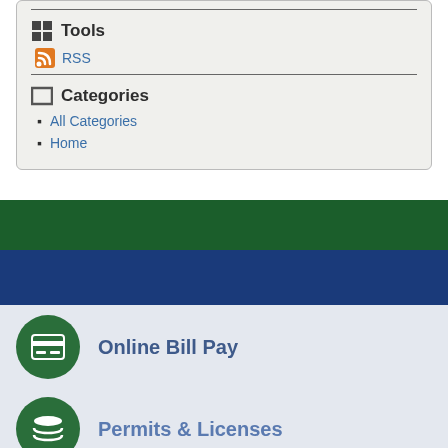Tools
RSS
Categories
All Categories
Home
[Figure (infographic): Green dark bar banner]
[Figure (infographic): Dark blue bar banner]
Online Bill Pay
Permits & Licenses